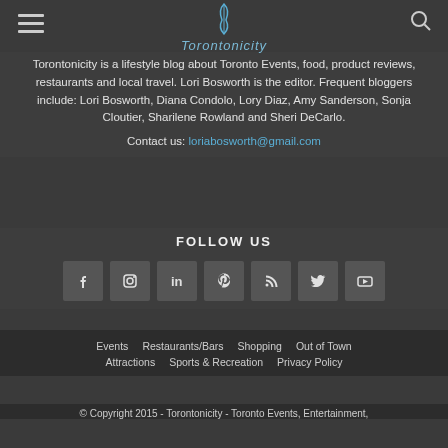Torontonicity
Torontonicity is a lifestyle blog about Toronto Events, food, product reviews, restaurants and local travel. Lori Bosworth is the editor. Frequent bloggers include: Lori Bosworth, Diana Condolo, Lory Diaz, Amy Sanderson, Sonja Cloutier, Sharilene Rowland and Sheri DeCarlo.
Contact us: loriabosworth@gmail.com
FOLLOW US
[Figure (infographic): Seven social media icon buttons: Facebook, Instagram, LinkedIn, Pinterest, RSS, Twitter, YouTube]
Events   Restaurants/Bars   Shopping   Out of Town   Attractions   Sports & Recreation   Privacy Policy
© Copyright 2015 - Torontonicity - Toronto Events, Entertainment,